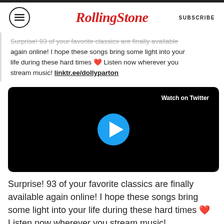RollingStone | SUBSCRIBE
Surprise! 93 of your favorite classics are finally available again online! I hope these songs bring some light into your life during these hard times ❤ Listen now wherever you stream music! linktr.ee/dollyparton
[Figure (screenshot): Embedded Twitter video player showing a black video frame with a blue circular play button in the center and a 'Watch on Twitter' button in the upper right.]
Surprise! 93 of your favorite classics are finally available again online! I hope these songs bring some light into your life during these hard times ❤ Listen now wherever you stream music! https://t.co/9vhYQb6Hd7 pic.twitter.com/q26tOmbAoj